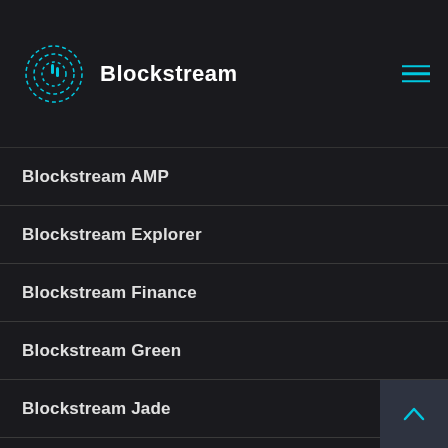Blockstream
Blockstream AMP
Blockstream Explorer
Blockstream Finance
Blockstream Green
Blockstream Jade
Blockstream Mining
Blockstream Research
Blockstream Satellite
Company